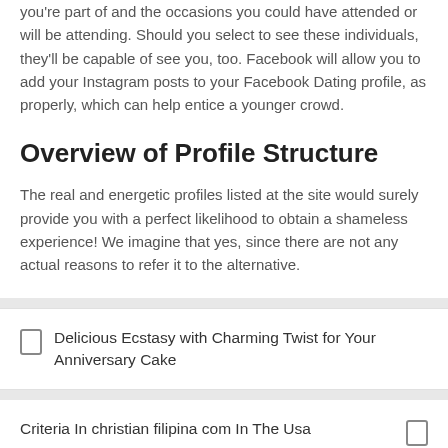you're part of and the occasions you could have attended or will be attending. Should you select to see these individuals, they'll be capable of see you, too. Facebook will allow you to add your Instagram posts to your Facebook Dating profile, as properly, which can help entice a younger crowd.
Overview of Profile Structure
The real and energetic profiles listed at the site would surely provide you with a perfect likelihood to obtain a shameless experience! We imagine that yes, since there are not any actual reasons to refer it to the alternative.
Delicious Ecstasy with Charming Twist for Your Anniversary Cake
Criteria In christian filipina com In The Usa